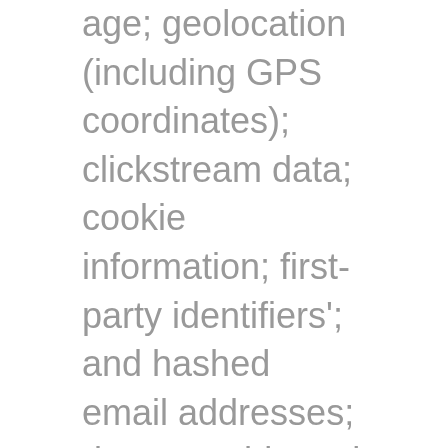age; geolocation (including GPS coordinates); clickstream data; cookie information; first-party identifiers'; and hashed email addresses; demographic and inferred interest information; and post-conversion data (from both online and offline